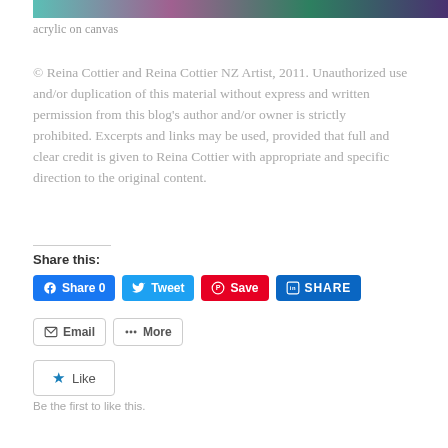[Figure (photo): Cropped bottom portion of a colorful acrylic painting showing teal, purple, and green tones]
acrylic on canvas
© Reina Cottier and Reina Cottier NZ Artist, 2011. Unauthorized use and/or duplication of this material without express and written permission from this blog's author and/or owner is strictly prohibited. Excerpts and links may be used, provided that full and clear credit is given to Reina Cottier with appropriate and specific direction to the original content.
Share this:
[Figure (screenshot): Social share buttons: Facebook Share 0, Tweet, Pinterest Save, LinkedIn SHARE, Email, More]
[Figure (screenshot): Like button with star icon and 'Be the first to like this.' text below]